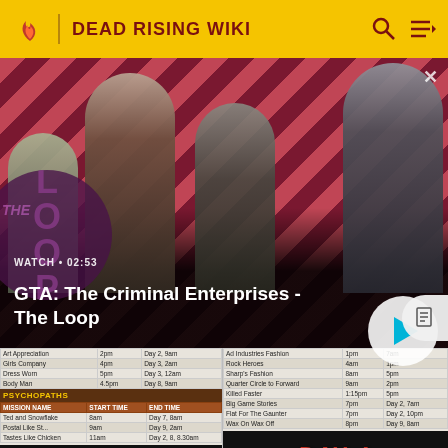DEAD RISING WIKI
[Figure (screenshot): GTA: The Criminal Enterprises - The Loop video thumbnail with striped red/dark background showing game characters, watch time 02:53, and a play button]
GTA: The Criminal Enterprises - The Loop
[Figure (screenshot): Partial view of in-game schedule tables showing psychopaths section and day 3 and day 4 case files banners at the bottom]